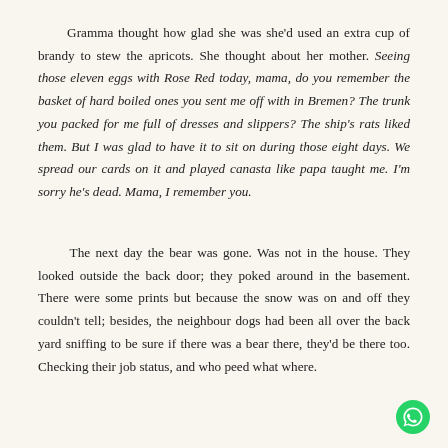Gramma thought how glad she was she'd used an extra cup of brandy to stew the apricots. She thought about her mother. Seeing those eleven eggs with Rose Red today, mama, do you remember the basket of hard boiled ones you sent me off with in Bremen? The trunk you packed for me full of dresses and slippers? The ship's rats liked them. But I was glad to have it to sit on during those eight days. We spread our cards on it and played canasta like papa taught me. I'm sorry he's dead. Mama, I remember you.
The next day the bear was gone. Was not in the house. They looked outside the back door; they poked around in the basement. There were some prints but because the snow was on and off they couldn't tell; besides, the neighbour dogs had been all over the back yard sniffing to be sure if there was a bear there, they'd be there too. Checking their job status, and who peed what where.
[Figure (logo): WhatsApp logo — green circle with white phone/chat icon]